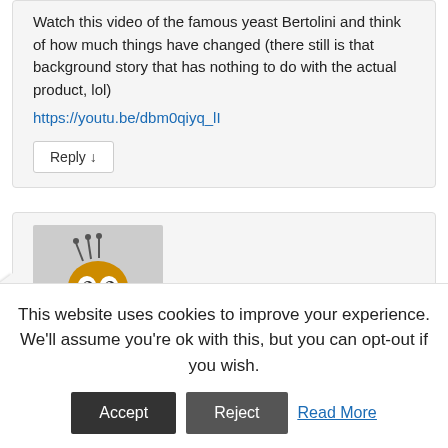Watch this video of the famous yeast Bertolini and think of how much things have changed (there still is that background story that has nothing to do with the actual product, lol)
https://youtu.be/dbm0qiyq_lI
Reply ↓
[Figure (illustration): Cartoon avatar of a small round creature with spiky hair and wide eyes, resembling a stylized yeast cell or bug character]
Sabrina Tosi on 18/02/2019 at 17:50 said:
This website uses cookies to improve your experience. We'll assume you're ok with this, but you can opt-out if you wish.
Accept  Reject  Read More